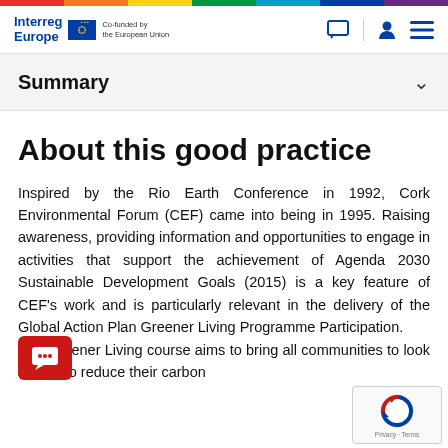Interreg Europe — Co-funded by the European Union
Summary
About this good practice
Inspired by the Rio Earth Conference in 1992, Cork Environmental Forum (CEF) came into being in 1995. Raising awareness, providing information and opportunities to engage in activities that support the achievement of Agenda 2030 Sustainable Development Goals (2015) is a key feature of CEF's work and is particularly relevant in the delivery of the Global Action Plan Greener Living Programme Participation.
The Greener Living course aims to bring all communities to look at how to reduce their carbon